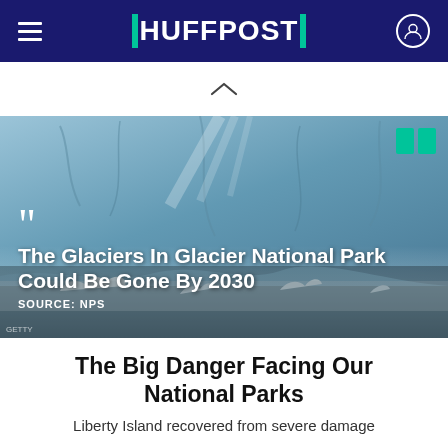HUFFPOST
[Figure (photo): Glacier landscape with icebergs floating in cold water, misty large glacier wall in background. Overlay text reads: The Glaciers In Glacier National Park Could Be Gone By 2030, SOURCE: NPS]
The Big Danger Facing Our National Parks
Liberty Island recovered from severe damage